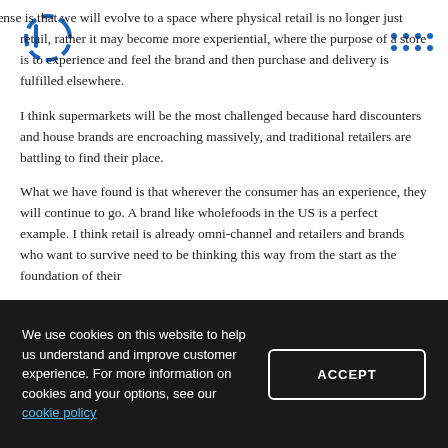My sense is that we will evolve to a space where physical retail is no longer just retail, rather it may become more experiential, where the purpose of a store is to experience and feel the brand and then purchase and delivery is fulfilled elsewhere.
I think supermarkets will be the most challenged because hard discounters and house brands are encroaching massively, and traditional retailers are battling to find their place.
What we have found is that wherever the consumer has an experience, they will continue to go. A brand like wholefoods in the US is a perfect example. I think retail is already omni-channel and retailers and brands who want to survive need to be thinking this way from the start as the foundation of their
We use cookies on this website to help us understand and improve customer experience. For more information on cookies and your options, see our cookie policy